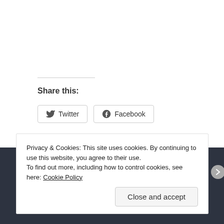Share this:
Twitter
Facebook
Like
One blogger likes this.
Privacy & Cookies: This site uses cookies. By continuing to use this website, you agree to their use.
To find out more, including how to control cookies, see here: Cookie Policy
Close and accept